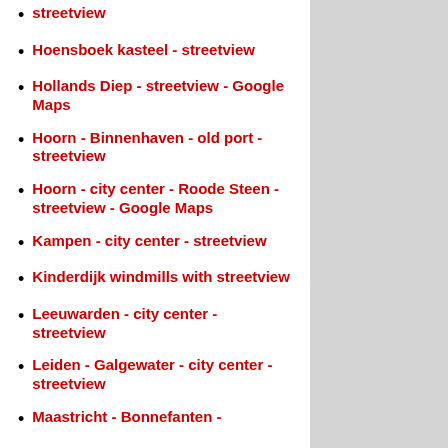streetview
Hoensboek kasteel - streetview
Hollands Diep - streetview - Google Maps
Hoorn - Binnenhaven - old port - streetview
Hoorn - city center - Roode Steen - streetview - Google Maps
Kampen - city center - streetview
Kinderdijk windmills with streetview
Leeuwarden - city center - streetview
Leiden - Galgewater - city center - streetview
Maastricht - Bonnefanten -